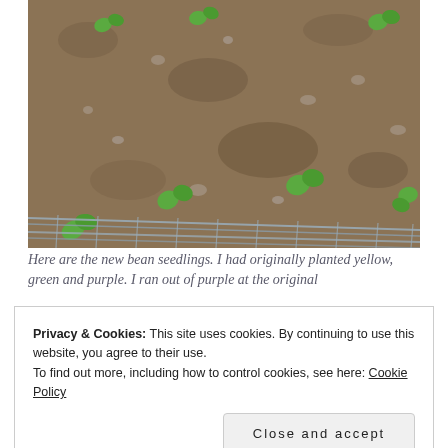[Figure (photo): Aerial view of garden soil with young green bean seedlings sprouting, with a wire fence or trellis visible at the bottom of the frame.]
Here are the new bean seedlings. I had originally planted yellow, green and purple. I ran out of purple at the original
Privacy & Cookies: This site uses cookies. By continuing to use this website, you agree to their use.
To find out more, including how to control cookies, see here: Cookie Policy
Close and accept
[Figure (photo): Partial view of another garden photo at the bottom of the page.]